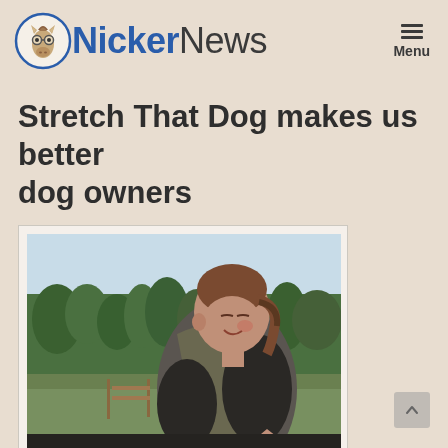NickerNews
Stretch That Dog makes us better dog owners
[Figure (photo): A woman with brown hair in a ponytail, wearing a dark vest over a black shirt, looking down and smiling. She appears to be working with or grooming an animal. Background shows trees, green fields, and a wooden fence on a sunny day.]